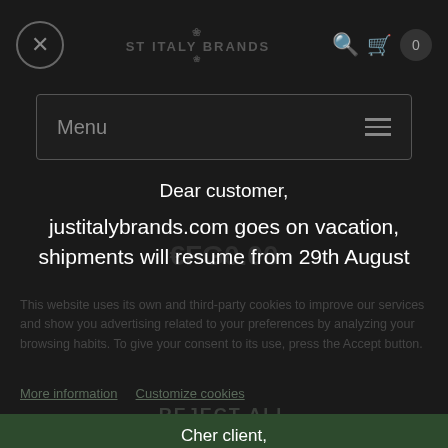JUST ITALY BRANDS
Menu
Dear customer,
justitalybrands.com goes on vacation,
shipments will resume from 29th August
This website uses its own and third-party cookies to improve our services and show you advertising related to your preferences by analyzing your browsing habits. To give your consent to its use, press the Accept button.
More information   Customize cookies
Cher client,
justitalybrands.com part en vacances
les expéditions reprendront à partir du
29 août